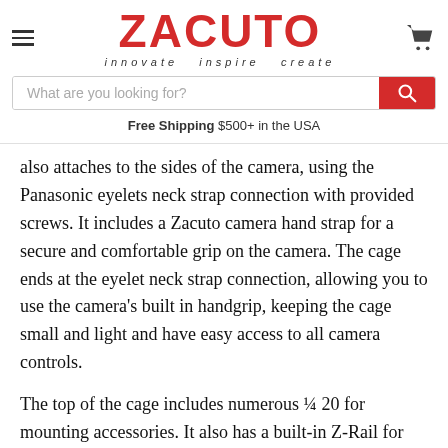[Figure (logo): Zacuto logo with red text 'ZACUTO' and tagline 'innovate inspire create']
Free Shipping $500+ in the USA
also attaches to the sides of the camera, using the Panasonic eyelets neck strap connection with provided screws. It includes a Zacuto camera hand strap for a secure and comfortable grip on the camera. The cage ends at the eyelet neck strap connection, allowing you to use the camera's built in handgrip, keeping the cage small and light and have easy access to all camera controls.
The top of the cage includes numerous ¼ 20 for mounting accessories. It also has a built-in Z-Rail for mounting an optional top handle or other accessories. The bottom of the cage has 2 ¼"